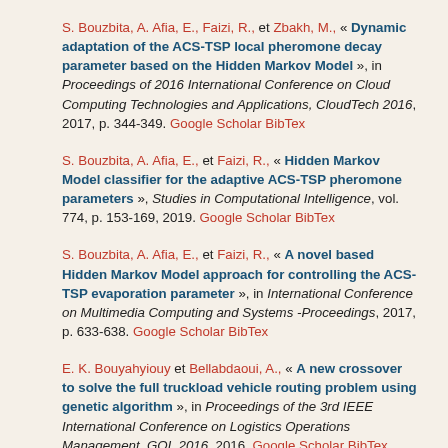S. Bouzbita, A. Afia, E., Faizi, R., et Zbakh, M., « Dynamic adaptation of the ACS-TSP local pheromone decay parameter based on the Hidden Markov Model », in Proceedings of 2016 International Conference on Cloud Computing Technologies and Applications, CloudTech 2016, 2017, p. 344-349. Google Scholar BibTex
S. Bouzbita, A. Afia, E., et Faizi, R., « Hidden Markov Model classifier for the adaptive ACS-TSP pheromone parameters », Studies in Computational Intelligence, vol. 774, p. 153-169, 2019. Google Scholar BibTex
S. Bouzbita, A. Afia, E., et Faizi, R., « A novel based Hidden Markov Model approach for controlling the ACS-TSP evaporation parameter », in International Conference on Multimedia Computing and Systems -Proceedings, 2017, p. 633-638. Google Scholar BibTex
E. K. Bouyahyiouy et Bellabdaoui, A., « A new crossover to solve the full truckload vehicle routing problem using genetic algorithm », in Proceedings of the 3rd IEEE International Conference on Logistics Operations Management, GOL 2016, 2016. Google Scholar BibTex
K. El Bouyahyiouy et Bellabdaoui, A., « A new crossover to solve